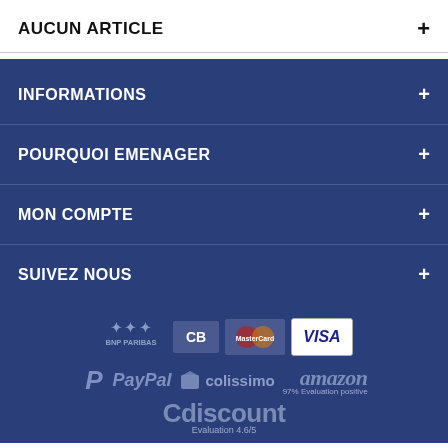AUCUN ARTICLE +
INFORMATIONS +
POURQUOI EMENAGER +
MON COMPTE +
SUIVEZ NOUS +
[Figure (logo): Payment and delivery logos: BNP Paribas, CB, MasterCard, Visa, PayPal, Colissimo, Amazon (97% Evaluation positive), Cdiscount (Evaluation 4.6/5)]